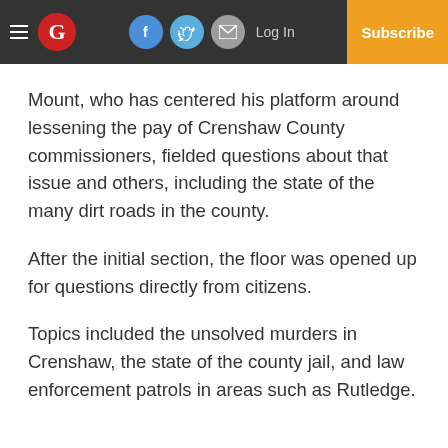G | Log In | Subscribe
Mount, who has centered his platform around lessening the pay of Crenshaw County commissioners, fielded questions about that issue and others, including the state of the many dirt roads in the county.
After the initial section, the floor was opened up for questions directly from citizens.
Topics included the unsolved murders in Crenshaw, the state of the county jail, and law enforcement patrols in areas such as Rutledge.